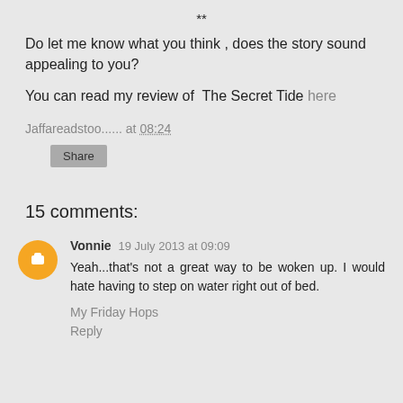**
Do let me know what you think , does the story sound appealing to you?
You can read my review of  The Secret Tide here
Jaffareadstoo...... at 08:24
Share
15 comments:
Vonnie  19 July 2013 at 09:09
Yeah...that's not a great way to be woken up. I would hate having to step on water right out of bed.
My Friday Hops
Reply